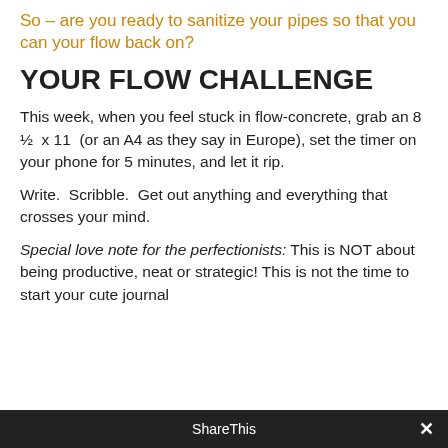So – are you ready to sanitize your pipes so that you can your flow back on?
YOUR FLOW CHALLENGE
This week, when you feel stuck in flow-concrete, grab an 8 ½  x 11  (or an A4 as they say in Europe), set the timer on your phone for 5 minutes, and let it rip.
Write.  Scribble.  Get out anything and everything that crosses your mind.
Special love note for the perfectionists: This is NOT about being productive, neat or strategic! This is not the time to start your cute journal
ShareThis ×